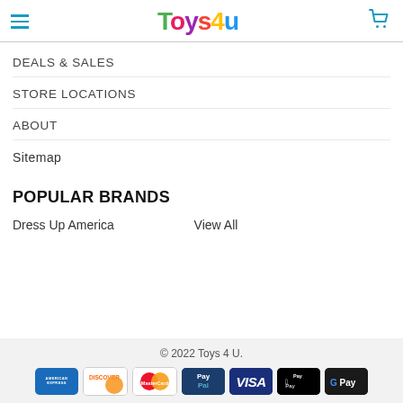[Figure (logo): Toys4u logo with colorful letters and hamburger menu and cart icon in header]
DEALS & SALES
STORE LOCATIONS
ABOUT
Sitemap
POPULAR BRANDS
Dress Up America
View All
© 2022 Toys 4 U.